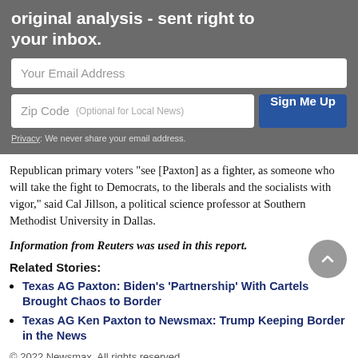[Figure (screenshot): Email signup form with gray background, email address input, zip code input with optional local news label, Sign Me Up button, and privacy notice.]
Republican primary voters "see [Paxton] as a fighter, as someone who will take the fight to Democrats, to the liberals and the socialists with vigor," said Cal Jillson, a political science professor at Southern Methodist University in Dallas.
Information from Reuters was used in this report.
Related Stories:
Texas AG Paxton: Biden's 'Partnership' With Cartels Brought Chaos to Border
Texas AG Ken Paxton to Newsmax: Trump Keeping Border in the News
© 2022 Newsmax. All rights reserved.